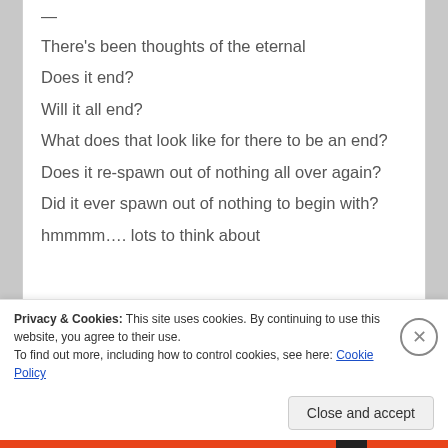—
There's been thoughts of the eternal
Does it end?
Will it all end?
What does that look like for there to be an end?
Does it re-spawn out of nothing all over again?
Did it ever spawn out of nothing to begin with?
hmmmm…. lots to think about
Privacy & Cookies: This site uses cookies. By continuing to use this website, you agree to their use.
To find out more, including how to control cookies, see here: Cookie Policy